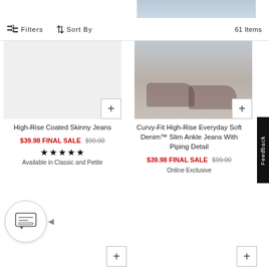[Figure (photo): Partial product image top right, showing legs in jeans]
Filters  Sort By  61 Items
[Figure (photo): Product image: High-Rise Coated Skinny Jeans, left column, cropped]
[Figure (photo): Product image: Curvy-Fit High-Rise Everyday Soft Denim Slim Ankle Jeans, right column, showing shoes detail]
High-Rise Coated Skinny Jeans
$39.98 FINAL SALE $99.00
★★★★★
Available in Classic and Petite
Curvy-Fit High-Rise Everyday Soft Denim™ Slim Ankle Jeans With Piping Detail
$39.98 FINAL SALE $99.00
Online Exclusive